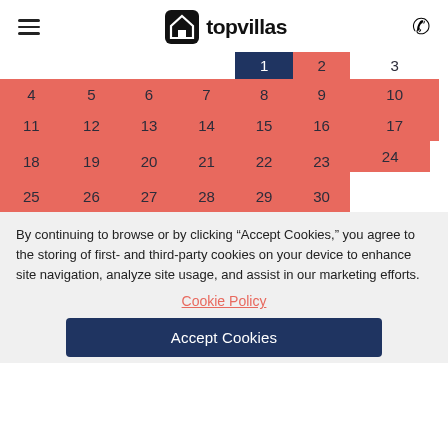topvillas
[Figure (other): Monthly calendar showing dates 1-30, with most days highlighted in red/salmon color and day 1 highlighted in dark navy blue. Days 4-30 shown across 5 rows of 7 columns. Bottom-right cell (31) is white/empty.]
By continuing to browse or by clicking “Accept Cookies,” you agree to the storing of first- and third-party cookies on your device to enhance site navigation, analyze site usage, and assist in our marketing efforts.
Cookie Policy
Accept Cookies